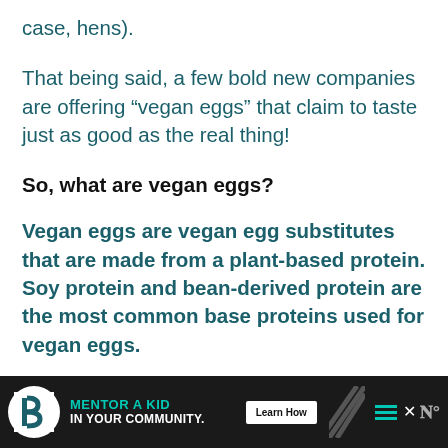case, hens).
That being said, a few bold new companies are offering “vegan eggs” that claim to taste just as good as the real thing!
So, what are vegan eggs?
Vegan eggs are vegan egg substitutes that are made from a plant-based protein. Soy protein and bean-derived protein are the most common base proteins used for vegan eggs.
[Figure (infographic): Advertisement banner for Big Brothers Big Sisters: 'MENTOR A KID IN YOUR COMMUNITY.' with a Learn How button, diagonal pattern, hamburger menu, and close button.]